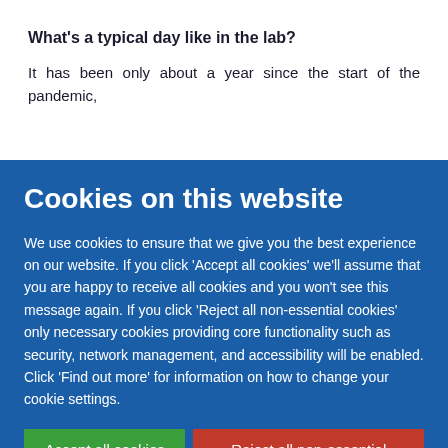What’s a typical day like in the lab?
It has been only about a year since the start of the pandemic,
Cookies on this website
We use cookies to ensure that we give you the best experience on our website. If you click ‘Accept all cookies’ we’ll assume that you are happy to receive all cookies and you won’t see this message again. If you click ‘Reject all non-essential cookies’ only necessary cookies providing core functionality such as security, network management, and accessibility will be enabled. Click ‘Find out more’ for information on how to change your cookie settings.
Accept all cookies
Reject all non-essential cookies
Find out more